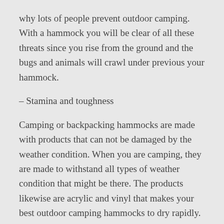why lots of people prevent outdoor camping. With a hammock you will be clear of all these threats since you rise from the ground and the bugs and animals will crawl under previous your hammock.
– Stamina and toughness
Camping or backpacking hammocks are made with products that can not be damaged by the weather condition. When you are camping, they are made to withstand all types of weather condition that might be there. The products likewise are acrylic and vinyl that makes your best outdoor camping hammocks to dry rapidly. Their chains, grommets and suspension ropes are likewise made to be hard in all-weather condition.
– Setup and packaging is quicker with less capacity for rips, tears and leaks.